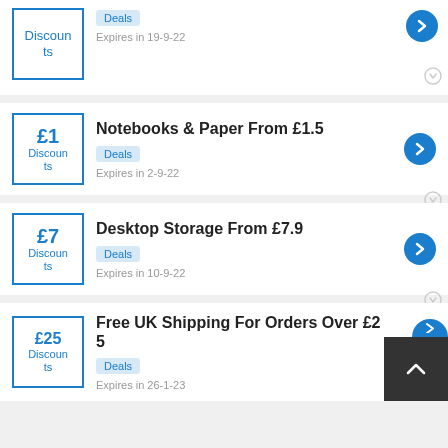Discounts — Deals — Expires in 19-9-22
£1 Discounts — Notebooks & Paper From £1.5 — Deals — Expires in 2-9-22
£7 Discounts — Desktop Storage From £7.9 — Deals — Expires in 10-9-22
£25 Discounts — Free UK Shipping For Orders Over £25 — Deals — Expires in 26-1-23